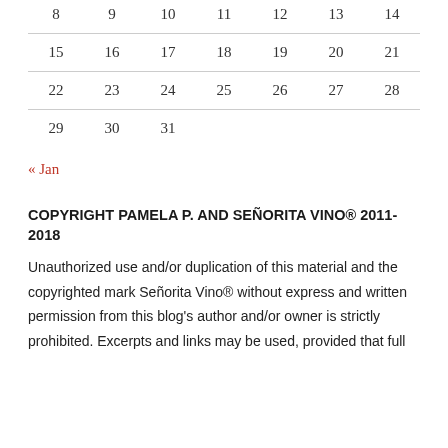|  |  |  |  |  |  |  |
| --- | --- | --- | --- | --- | --- | --- |
| 8 | 9 | 10 | 11 | 12 | 13 | 14 |
| 15 | 16 | 17 | 18 | 19 | 20 | 21 |
| 22 | 23 | 24 | 25 | 26 | 27 | 28 |
| 29 | 30 | 31 |  |  |  |  |
« Jan
COPYRIGHT PAMELA P. AND SEÑORITA VINO® 2011-2018
Unauthorized use and/or duplication of this material and the copyrighted mark Señorita Vino® without express and written permission from this blog's author and/or owner is strictly prohibited. Excerpts and links may be used, provided that full